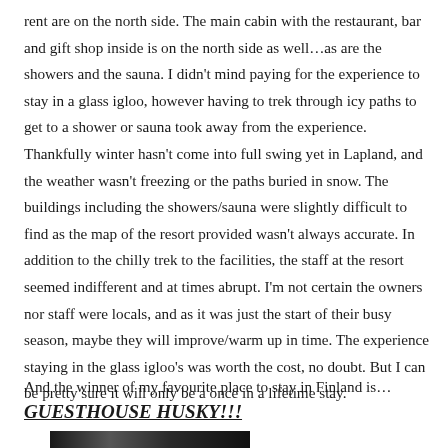rent are on the north side. The main cabin with the restaurant, bar and gift shop inside is on the north side as well…as are the showers and the sauna. I didn't mind paying for the experience to stay in a glass igloo, however having to trek through icy paths to get to a shower or sauna took away from the experience. Thankfully winter hasn't come into full swing yet in Lapland, and the weather wasn't freezing or the paths buried in snow. The buildings including the showers/sauna were slightly difficult to find as the map of the resort provided wasn't always accurate. In addition to the chilly trek to the facilities, the staff at the resort seemed indifferent and at times abrupt. I'm not certain the owners nor staff were locals, and as it was just the start of their busy season, maybe they will improve/warm up in time. The experience staying in the glass igloo's was worth the cost, no doubt. But I can be pretty sure it will only be a once in a lifetime stay.
And the winner of my favourite place to stay in Finland is…
GUESTHOUSE HUSKY!!!
[Figure (photo): Partial dark photo strip at the bottom of the page]